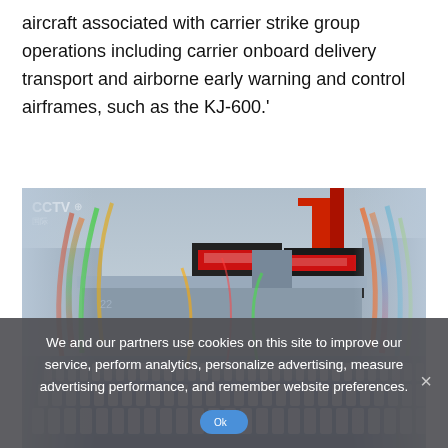aircraft associated with carrier strike group operations including carrier onboard delivery transport and airborne early warning and control airframes, such as the KJ-600.'
[Figure (photo): CCTV news footage screenshot showing the launch ceremony of a Chinese aircraft carrier at a shipyard. Rows of naval personnel in white dress uniforms stand in formation in the foreground. The large grey carrier hull is visible in the background with colorful streamers and red crane structures. Chinese signage on dark superstructure buildings visible.]
We and our partners use cookies on this site to improve our service, perform analytics, personalize advertising, measure advertising performance, and remember website preferences.